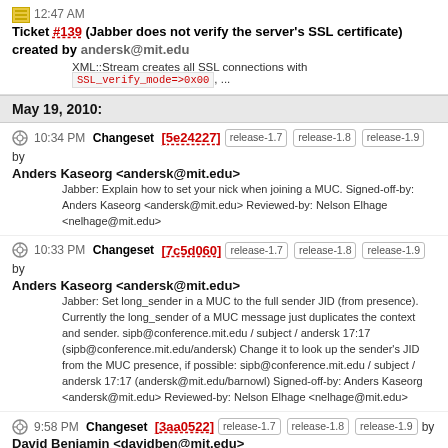12:47 AM Ticket #139 (Jabber does not verify the server's SSL certificate) created by andersk@mit.edu XML::Stream creates all SSL connections with SSL_verify_mode=>0x00, ...
May 19, 2010:
10:34 PM Changeset [5e24227] release-1.7 release-1.8 release-1.9 by Anders Kaseorg <andersk@mit.edu> Jabber: Explain how to set your nick when joining a MUC. Signed-off-by: Anders Kaseorg <andersk@mit.edu> Reviewed-by: Nelson Elhage <nelhage@mit.edu>
10:33 PM Changeset [7c5d060] release-1.7 release-1.8 release-1.9 by Anders Kaseorg <andersk@mit.edu> Jabber: Set long_sender in a MUC to the full sender JID (from presence). Currently the long_sender of a MUC message just duplicates the context and sender. sipb@conference.mit.edu / subject / andersk 17:17 (sipb@conference.mit.edu/andersk) Change it to look up the sender's JID from the MUC presence, if possible: sipb@conference.mit.edu / subject / andersk 17:17 (andersk@mit.edu/barnowl) Signed-off-by: Anders Kaseorg <andersk@mit.edu> Reviewed-by: Nelson Elhage <nelhage@mit.edu>
9:58 PM Changeset [3aa0522] release-1.7 release-1.8 release-1.9 by David Benjamin <davidben@mit.edu> Deprecate the main loop hook, use on-demand perl timer Users without a